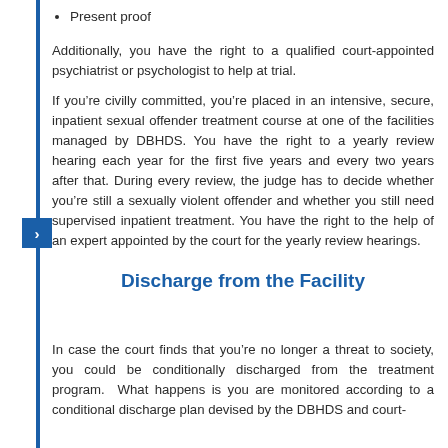Present proof
Additionally, you have the right to a qualified court-appointed psychiatrist or psychologist to help at trial.
If you’re civilly committed, you’re placed in an intensive, secure, inpatient sexual offender treatment course at one of the facilities managed by DBHDS. You have the right to a yearly review hearing each year for the first five years and every two years after that. During every review, the judge has to decide whether you’re still a sexually violent offender and whether you still need supervised inpatient treatment. You have the right to the help of an expert appointed by the court for the yearly review hearings.
Discharge from the Facility
In case the court finds that you’re no longer a threat to society, you could be conditionally discharged from the treatment program. What happens is you are monitored according to a conditional discharge plan devised by the DBHDS and court-